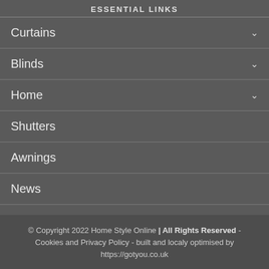ESSENTIAL LINKS
Curtains
Blinds
Home
Shutters
Awnings
News
© Copyright 2022 Home Style Online | All Rights Reserved - Cookies and Privacy Policy - built and localy optimised by https://gotyou.co.uk